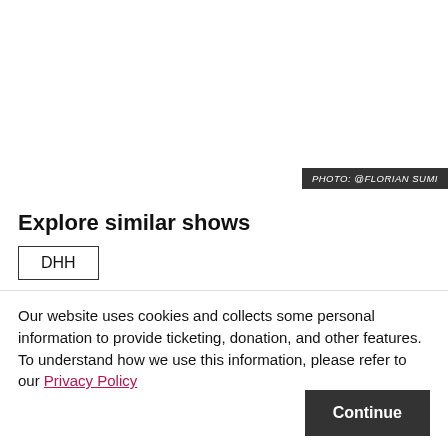[Figure (photo): Large photo area (appears white/blank in this view) with photo credit overlay reading PHOTO: @FLORIAN SUMI]
PHOTO: @FLORIAN SUMI
Explore similar shows
DHH
Our website uses cookies and collects some personal information to provide ticketing, donation, and other features. To understand how we use this information, please refer to our Privacy Policy
Continue